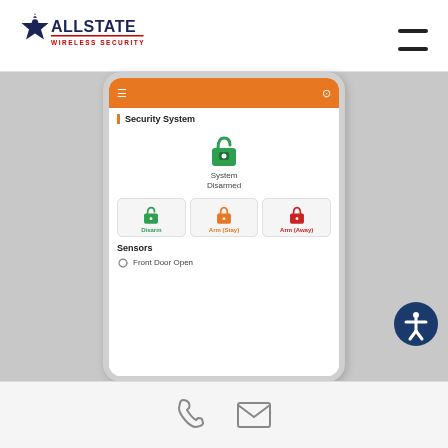[Figure (logo): Allstate Wireless Security logo with star and signal waves]
[Figure (screenshot): Mobile app screenshot showing Security System panel with System Disarmed status, Disarm/Arm Stay/Arm Away buttons, Sensors section with Front Door Open]
Phone and email contact icons